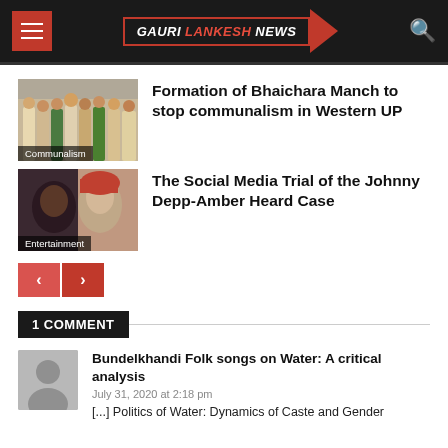[Figure (logo): Gauri Lankesh News website header with hamburger menu, logo, and search icon]
[Figure (photo): Group of people in traditional clothing - Communalism thumbnail]
Formation of Bhaichara Manch to stop communalism in Western UP
[Figure (photo): Johnny Depp and Amber Heard - Entertainment thumbnail]
The Social Media Trial of the Johnny Depp-Amber Heard Case
[Figure (infographic): Pagination navigation buttons with left and right arrows]
1 COMMENT
[Figure (photo): Default user avatar placeholder]
Bundelkhandi Folk songs on Water: A critical analysis
July 31, 2020 at 2:18 pm
[...] Politics of Water: Dynamics of Caste and Gender